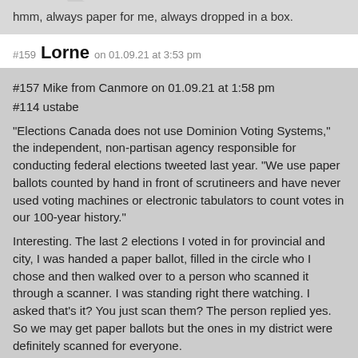hmm, always paper for me, always dropped in a box.
#159 Lorne on 01.09.21 at 3:53 pm
#157 Mike from Canmore on 01.09.21 at 1:58 pm
#114 ustabe
“Elections Canada does not use Dominion Voting Systems,” the independent, non-partisan agency responsible for conducting federal elections tweeted last year. “We use paper ballots counted by hand in front of scrutineers and have never used voting machines or electronic tabulators to count votes in our 100-year history.”

Interesting. The last 2 elections I voted in for provincial and city, I was handed a paper ballot, filled in the circle who I chose and then walked over to a person who scanned it through a scanner. I was standing right there watching. I asked that’s it? You just scan them? The person replied yes. So we may get paper ballots but the ones in my district were definitely scanned for everyone.
…………….
If so, very easy to conduct a recount, if necessary, with all the votes on paper ballots.